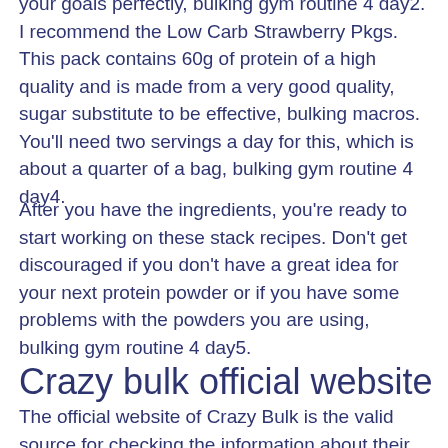your goals perfectly, bulking gym routine 4 day2. I recommend the Low Carb Strawberry Pkgs. This pack contains 60g of protein of a high quality and is made from a very good quality, sugar substitute to be effective, bulking macros. You'll need two servings a day for this, which is about a quarter of a bag, bulking gym routine 4 day4.
After you have the ingredients, you're ready to start working on these stack recipes. Don't get discouraged if you don't have a great idea for your next protein powder or if you have some problems with the powders you are using, bulking gym routine 4 day5.
Crazy bulk official website
The official website of Crazy Bulk is the valid source for checking the information about their latest products and the customer